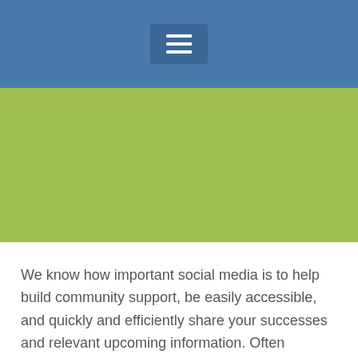[Figure (other): Navigation header bar with hamburger menu icon on blue background]
[Figure (other): Green banner/hero image area]
We know how important social media is to help build community support, be easily accessible, and quickly and efficiently share your successes and relevant upcoming information. Often organizations sprint to social media as the shiny penny that will fix the problem.
If you haven't properly set goals for your social